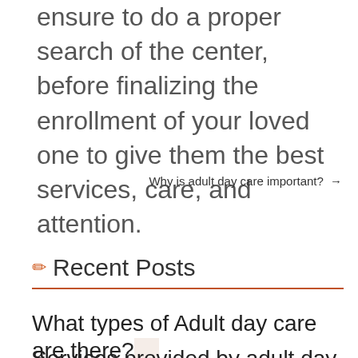ensure to do a proper search of the center, before finalizing the enrollment of your loved one to give them the best services, care, and attention.
Why is adult day care important? →
✏ Recent Posts
What types of Adult day care are there?
Services provided by adult day care